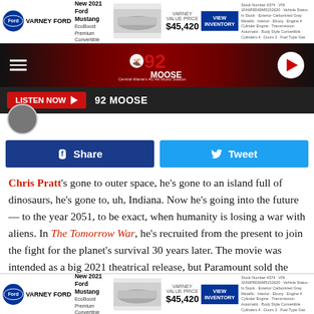[Figure (infographic): Varney Ford advertisement banner for New 2021 Ford Mustang EcoBoost Premium Convertible, Varney Value Price $45,420, VIEW INVENTORY button]
[Figure (logo): 92 Moose radio station navigation bar with hamburger menu, moose logo, and play button]
[Figure (screenshot): LISTEN NOW button with play icon and 92 MOOSE label on dark bar]
[Figure (screenshot): Share on Facebook and Tweet buttons]
Chris Pratt's gone to outer space, he's gone to an island full of dinosaurs, he's gone to, uh, Indiana. Now he's going into the future — to the year 2051, to be exact, when humanity is losing a war with aliens. In The Tomorrow War, he's recruited from the present to join the fight for the planet's survival 30 years later. The movie was intended as a big 2021 theatrical release, but Paramount sold the rights to the film to Amazon,
[Figure (infographic): Varney Ford advertisement banner at bottom, same as top ad]